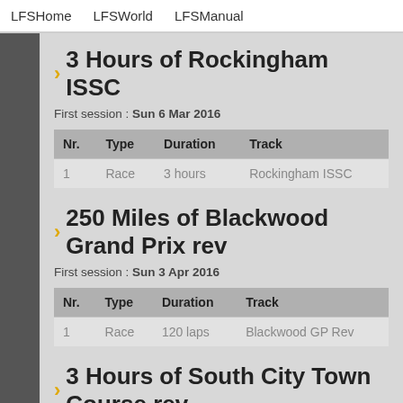LFSHome   LFSWorld   LFSManual
3 Hours of Rockingham ISSC
First session : Sun 6 Mar 2016
| Nr. | Type | Duration | Track |
| --- | --- | --- | --- |
| 1 | Race | 3 hours | Rockingham ISSC |
250 Miles of Blackwood Grand Prix rev
First session : Sun 3 Apr 2016
| Nr. | Type | Duration | Track |
| --- | --- | --- | --- |
| 1 | Race | 120 laps | Blackwood GP Rev |
3 Hours of South City Town Course rev